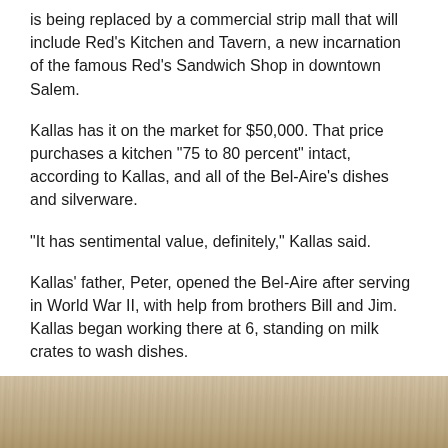is being replaced by a commercial strip mall that will include Red’s Kitchen and Tavern, a new incarnation of the famous Red’s Sandwich Shop in downtown Salem.
Kallas has it on the market for $50,000. That price purchases a kitchen “75 to 80 percent” intact, according to Kallas, and all of the Bel-Aire’s dishes and silverware.
“It has sentimental value, definitely,” Kallas said.
Kallas’ father, Peter, opened the Bel-Aire after serving in World War II, with help from brothers Bill and Jim. Kallas began working there at 6, standing on milk crates to wash dishes.
If a sale can’t be completed, Kallas said, he will not destroy the diner. He will “shrink wrap it” and store it at the back of his Route 1 property until a sale or use can be realized.
“We’re trying to find somebody to take it,” Kallas said. “It just needs a little tender love and care.”
[Figure (photo): Bottom portion of a photograph showing a sandy or dusty ground surface, tan/brown tones.]